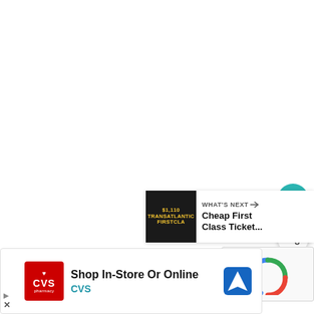[Figure (screenshot): Teal circular heart/favorite button on right side of page]
[Figure (screenshot): White circular share button with share icon on right side of page]
[Figure (screenshot): What's Next panel showing thumbnail with stacked yellow text and headline 'Cheap First Class Ticket...']
[Figure (screenshot): Partial reCAPTCHA widget bottom right]
[Figure (screenshot): CVS Pharmacy advertisement banner: 'Shop In-Store Or Online' with CVS logo and navigation icon]